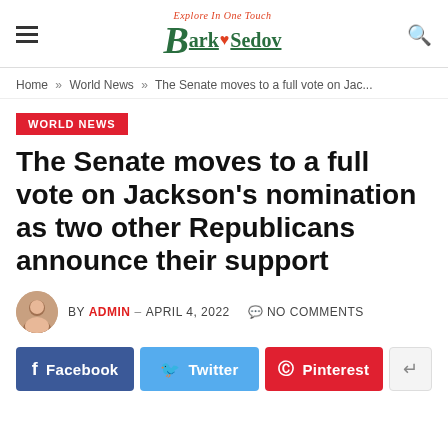BarkSedov — Explore In One Touch
Home » World News » The Senate moves to a full vote on Jac...
WORLD NEWS
The Senate moves to a full vote on Jackson's nomination as two other Republicans announce their support
BY ADMIN — APRIL 4, 2022  NO COMMENTS
Facebook  Twitter  Pinterest